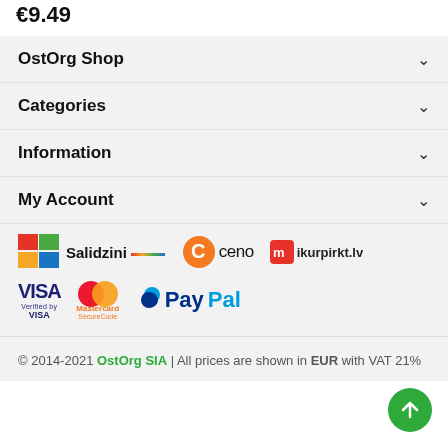€9.49
OstOrg Shop
Categories
Information
My Account
[Figure (logo): Salidzini comparison shopping logo]
[Figure (logo): Ceno comparison shopping logo]
[Figure (logo): ikurpirkt.lv logo]
[Figure (logo): Visa Verified by VISA logo]
[Figure (logo): Mastercard SecureCode logo]
[Figure (logo): PayPal logo]
© 2014-2021 OstOrg SIA | All prices are shown in EUR with VAT 21%